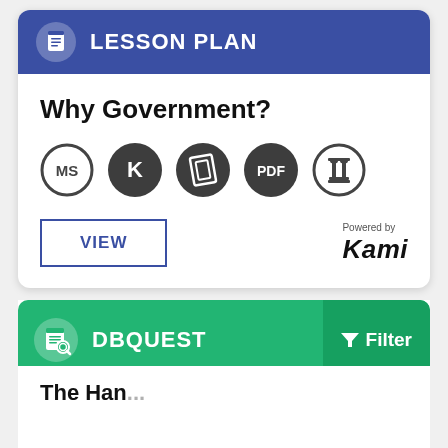LESSON PLAN
Why Government?
[Figure (logo): Five circular icons: MS (outline circle), K (dark circle), skewed parallelogram shape (dark circle), PDF (dark circle), ionic column (outline circle)]
VIEW
[Figure (logo): Powered by Kami logo]
DBQUEST
Filter